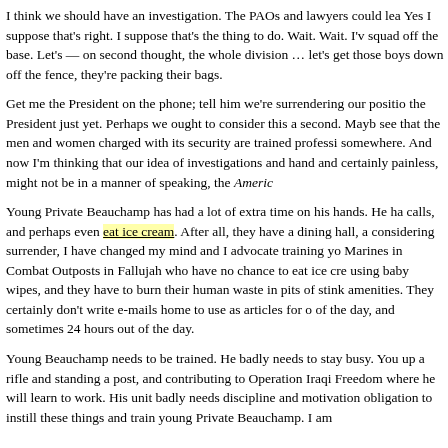I think we should have an investigation.  The PAOs and lawyers could lea... Yes I suppose that's right.  I suppose that's the thing to do.  Wait.  Wait.  I'v... squad off the base.  Let's — on second thought, the whole division … let's... get those boys down off the fence, they're packing their bags.
Get me the President on the phone; tell him we're surrendering our positio... the President just yet.  Perhaps we ought to consider this a second.  Mayb... see that the men and women charged with its security are trained professi... somewhere.  And now I'm thinking that our idea of investigations and hand... and certainly painless, might not be in a manner of speaking, the American...
Young Private Beauchamp has had a lot of extra time on his hands.  He ha... calls, and perhaps even eat ice cream.  After all, they have a dining hall, a... considering surrender, I have changed my mind and I advocate training yo... Marines in Combat Outposts in Fallujah who have no chance to eat ice cre... using baby wipes, and they have to burn their human waste in pits of stink... amenities.  They certainly don't write e-mails home to use as articles for o... of the day, and sometimes 24 hours out of the day.
Young Beauchamp needs to be trained.  He badly needs to stay busy.  You... up a rifle and standing a post, and contributing to Operation Iraqi Freedom... where he will learn to work.  His unit badly needs discipline and motivation... obligation to instill these things and train young Private Beauchamp.  I am...